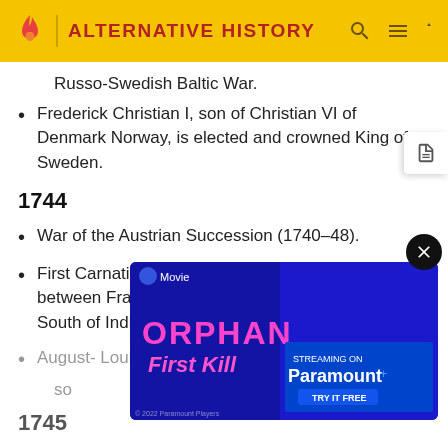ALTERNATIVE HISTORY
Russo-Swedish Baltic War.
Frederick Christian I, son of Christian VI of Denmark Norway, is elected and crowned King of Sweden.
1744
War of the Austrian Succession (1740–48).
First Carnatic War (1744–1748). Proxy conflict between France and Britain for the control of the South of India.
August- Louis XV king of France and Navarre dies, so...
1745
Jac... ated loom enters production at the Royal silk plant of Lyon.
[Figure (screenshot): Advertisement overlay for Paramount+ movie 'Orphan: First Kill' streaming, with close button]